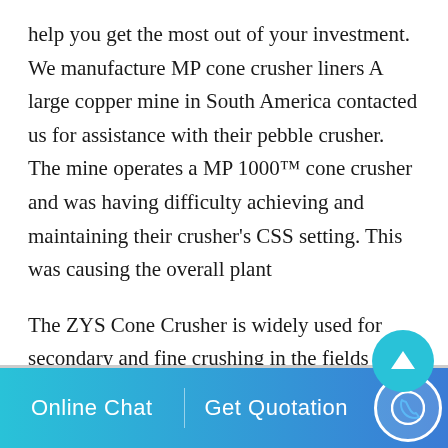help you get the most out of your investment. We manufacture MP cone crusher liners A large copper mine in South America contacted us for assistance with their pebble crusher. The mine operates a MP 1000™ cone crusher and was having difficulty achieving and maintaining their crusher's CSS setting. This was causing the overall plant
The ZYS Cone Crusher is widely used for secondary and fine crushing in the fields of mining, building materials, metallurgies and so on. The ZYS Cone Crusher can crush materials with middle and high hardness, such as, metal ore, basalt, granite, limestone, cobblestone, sandstone and so on. Applications: ZYS cone crusher is widely used in mining
Online Chat   Get Quotation